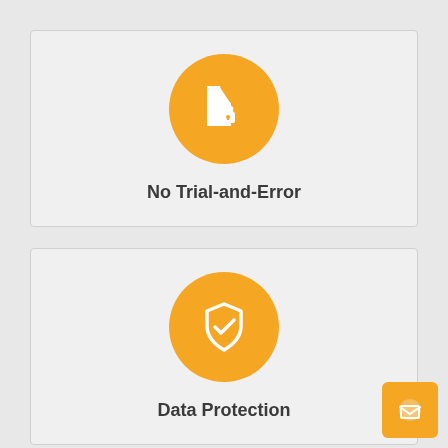[Figure (illustration): Orange circle with white document and lock icon, representing No Trial-and-Error feature]
No Trial-and-Error
[Figure (illustration): Orange circle with white shield and checkmark icon, representing Data Protection feature]
Data Protection
[Figure (illustration): Orange rounded square button with white envelope/email icon in bottom right corner]